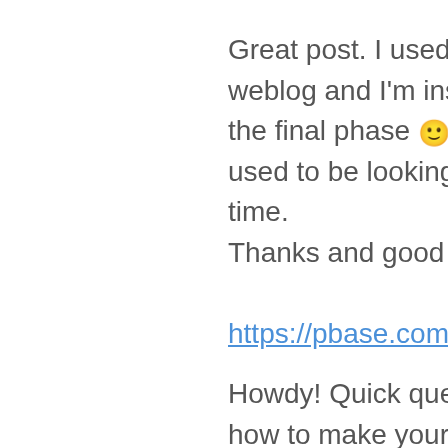Great post. I used to be checking constantly this weblog and I'm inspired! Very helpful info particularly the final phase 🙂 I care for such information much. I used to be looking for this certain info for a very long time.
Thanks and good luck.
https://pbase.com/topics/cropvoyage20/t
Howdy! Quick question that's totally off to Do you know how to make your site mob weird when viewing from my apple iphone. I'm trying to find a template